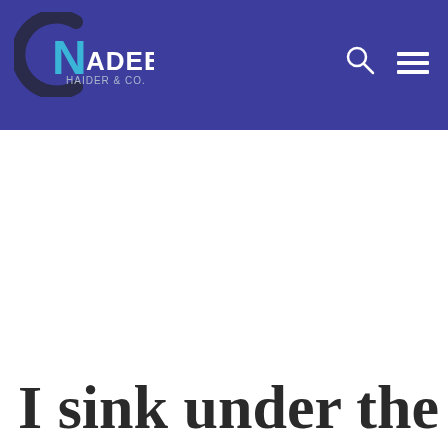[Figure (logo): Nadeem Haider & Co logo with stylized C and N letters in dark and cyan on blue header background]
I sink under the